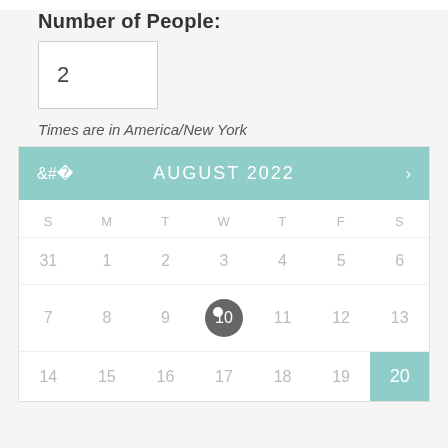Number of People:
2
Times are in America/New York
[Figure (other): Interactive calendar showing August 2022. Day 10 is highlighted with a dark circle (current/selected date). Day 20 is highlighted in teal/green. Days shown: row1: 31,1,2,3,4,5,6; row2: 7,8,9,10,11,12,13; row3: 14,15,16,17,18,19,20]